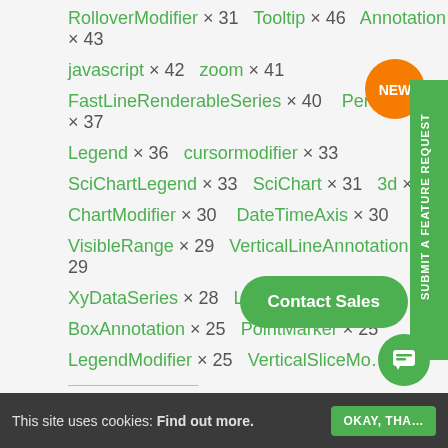RolloverModifier × 31   Tooltip × 46   Annotation × 43
javascript × 42   zoom × 41
FastLineRenderableSeries × 40   Performance × 37
Legend × 36   cursormodifier × 33
SciChartLegend × 33   SciChart × 31   3d × 30
ChartModifier × 30   DateTimeAxis × 30
VisibleRange × 29   VerticalLineAnnotation × 29
XyDataSeries × 28   LineAnnotation × 26
BoxAnnotation × 25   PointMarker × 25
LegendModifier × 25   VerticalSliceMo…
This site uses cookies: Find out more.   OKAY, THA…